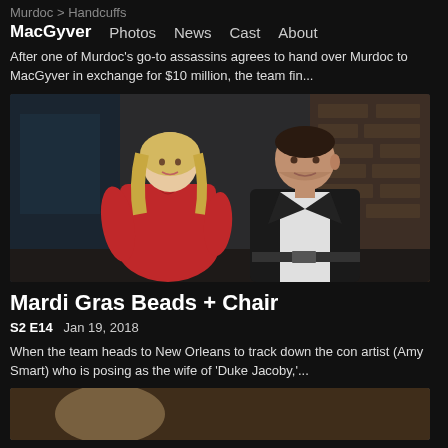Murdoc > Handcuffs
MacGyver  Photos  News  Cast  About
After one of Murdoc's go-to assassins agrees to hand over Murdoc to MacGyver in exchange for $10 million, the team fin...
[Figure (photo): TV still showing a woman in a red dress and a man in a black leather jacket seated indoors, scene from MacGyver episode Mardi Gras Beads + Chair]
Mardi Gras Beads + Chair
S2 E14  Jan 19, 2018
When the team heads to New Orleans to track down the con artist (Amy Smart) who is posing as the wife of 'Duke Jacoby,'...
[Figure (photo): Partial view of next episode thumbnail at bottom of page]